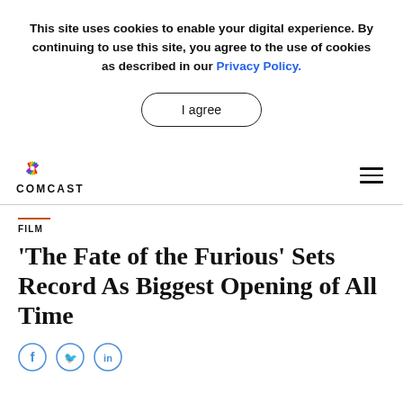This site uses cookies to enable your digital experience. By continuing to use this site, you agree to the use of cookies as described in our Privacy Policy.
I agree
[Figure (logo): Comcast logo with NBC peacock icon and COMCAST text]
[Figure (other): Hamburger menu icon (three horizontal lines)]
FILM
'The Fate of the Furious' Sets Record As Biggest Opening of All Time
[Figure (other): Social media sharing icons: Facebook, Twitter, LinkedIn]